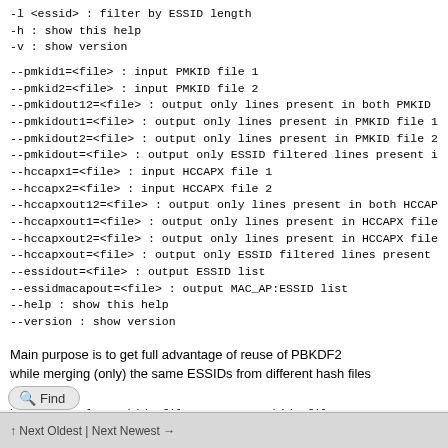-l <essid>  : filter by ESSID length
-h          : show this help
-v          : show version
--pmkid1=<file>       : input PMKID file 1
--pmkid2=<file>       : input PMKID file 2
--pmkidout12=<file>   : output only lines present in both PMKID file 1 and
--pmkidout1=<file>    : output only lines present in PMKID file 1
--pmkidout2=<file>    : output only lines present in PMKID file 2
--pmkidout=<file>     : output only ESSID filtered lines present in PMKID fi
--hccapx1=<file>      : input HCCAPX file 1
--hccapx2=<file>      : input HCCAPX file 2
--hccapxout12=<file>  : output only lines present in both HCCAPX file 1 an
--hccapxout1=<file>   : output only lines present in HCCAPX file1
--hccapxout2=<file>   : output only lines present in HCCAPX file 2
--hccapxout=<file>    : output only ESSID filtered lines present in HCCAPX
--essidout=<file>     : output ESSID list
--essidmacapout=<file> : output MAC_AP:ESSID list
--help                : show this help
--version             : show version
Main purpose is to get full advantage of reuse of PBKDF2 while merging (only) the same ESSIDs from different hash files examples: hcxessidtool --pmkid1=file1.16800 --pmkid2=file2.16800 --pmkidout12=joi hcxessidtool --pmkid1=file1.16800 -l 10 --pmkidout=filtered.16800
↑ Next Oldest | Next Newest →